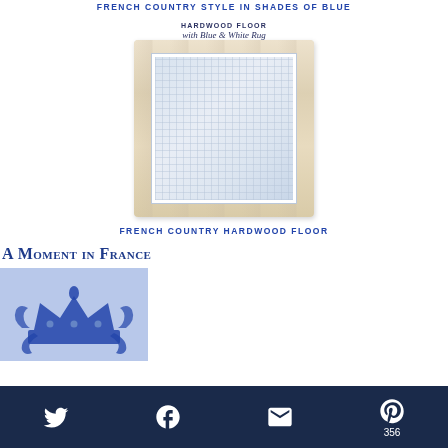FRENCH COUNTRY STYLE IN SHADES OF BLUE
[Figure (illustration): Polaroid-style swatch card showing a light hardwood floor texture with a blue and white crosshatch rug swatch in the center. Text above reads 'HARDWOOD FLOOR with Blue & White Rug'.]
FRENCH COUNTRY HARDWOOD FLOOR
A Moment in France
[Figure (illustration): Blue background rectangle with a decorative blue royal crown illustration with floral/scroll ornamentation.]
Twitter, Facebook, Email, Pinterest 356